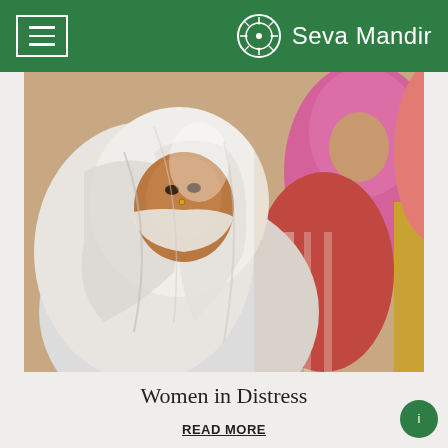Seva Mandir
[Figure (photo): An elderly Indian woman wrapped in a white shawl/sari covering her head and lower face, with other women in colorful pink and red attire visible in the background.]
Women in Distress
READ MORE